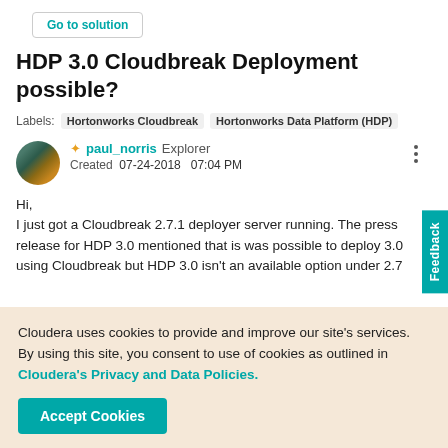Go to solution
HDP 3.0 Cloudbreak Deployment possible?
Labels:  Hortonworks Cloudbreak  Hortonworks Data Platform (HDP)
paul_norris  Explorer
Created  07-24-2018  07:04 PM
Hi,
I just got a Cloudbreak 2.7.1 deployer server running. The press release for HDP 3.0 mentioned that is was possible to deploy 3.0 using Cloudbreak but HDP 3.0 isn't an available option under 2.7
Cloudera uses cookies to provide and improve our site's services. By using this site, you consent to use of cookies as outlined in Cloudera's Privacy and Data Policies.
Accept Cookies